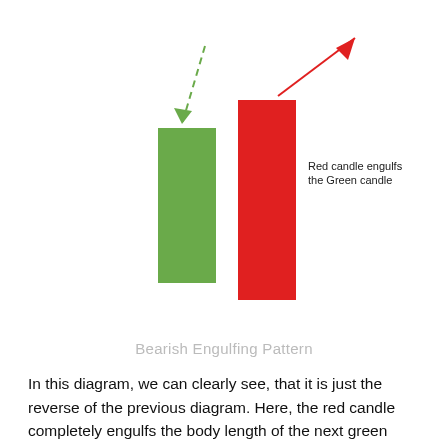[Figure (illustration): Bearish Engulfing Pattern diagram showing a smaller green candle on the left and a larger red candle on the right that engulfs it. A green dashed arrow points down-right to the green candle from upper-left. A red solid arrow points up-right from the red candle toward upper-right. Text label reads 'Red candle engulfs the Green candle'.]
Bearish Engulfing Pattern
In this diagram, we can clearly see, that it is just the reverse of the previous diagram. Here, the red candle completely engulfs the body length of the next green candle. This is a bearish engulfing pattern.